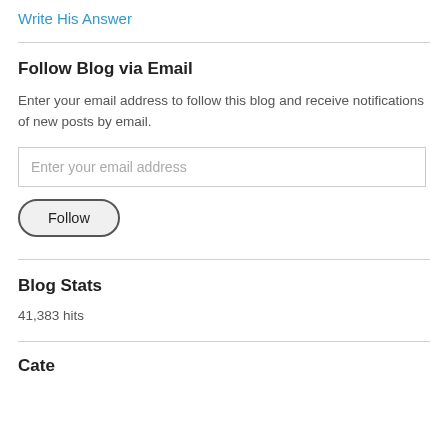Write His Answer
Follow Blog via Email
Enter your email address to follow this blog and receive notifications of new posts by email.
Enter your email address
Follow
Blog Stats
41,383 hits
Categories